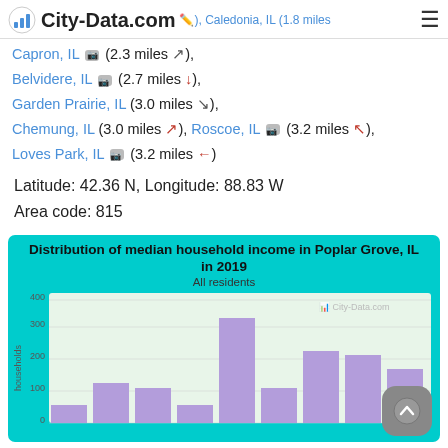City-Data.com | ), Caledonia, IL (1.8 miles
Capron, IL (2.3 miles ), Belvidere, IL (2.7 miles ), Garden Prairie, IL (3.0 miles ), Chemung, IL (3.0 miles ), Roscoe, IL (3.2 miles ), Loves Park, IL (3.2 miles )
Latitude: 42.36 N, Longitude: 88.83 W
Area code: 815
[Figure (bar-chart): Distribution of median household income in Poplar Grove, IL in 2019]